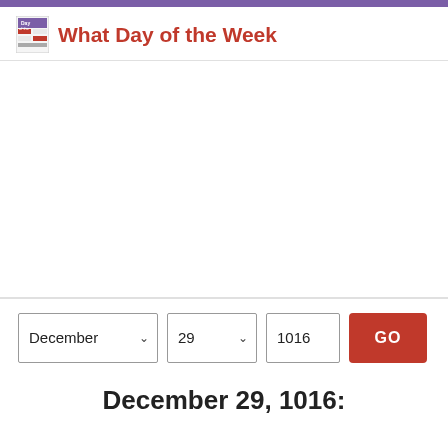What Day of the Week
[Figure (screenshot): Advertisement / blank white area in the middle of the page]
December  29  1016  GO
December 29, 1016: